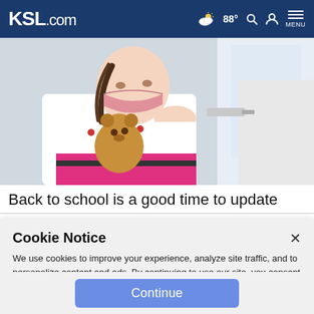KSL.com  88°  MENU
[Figure (photo): A young girl wearing a pink face mask holds a teddy bear while a medical professional in a white coat administers a vaccine injection into her arm.]
Back to school is a good time to update
Cookie Notice
We use cookies to improve your experience, analyze site traffic, and to personalize content and ads. By continuing to use our site, you consent to our use of cookies. Please visit our Terms of Use and Privacy Policy for more information.
Continue